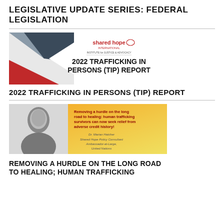LEGISLATIVE UPDATE SERIES: FEDERAL LEGISLATION
[Figure (illustration): 2022 Trafficking in Persons (TIP) Report cover graphic with Shared Hope International Institute for Justice & Advocacy logo and bold text reading '2022 TRAFFICKING IN PERSONS (TIP) REPORT' on white background with geometric red and grey design on left.]
2022 TRAFFICKING IN PERSONS (TIP) REPORT
[Figure (illustration): Promotional banner with black-and-white photo of Dr. Marian Hatcher on the left and text on gradient orange/yellow background: 'Removing a hurdle on the long road to healing: human trafficking survivors can now seek relief from adverse credit history!' with attribution to Dr. Marian Hatcher, Shared Hope Policy Consultant, Ambassador-at-Large, United Nations.]
REMOVING A HURDLE ON THE LONG ROAD TO HEALING; HUMAN TRAFFICKING